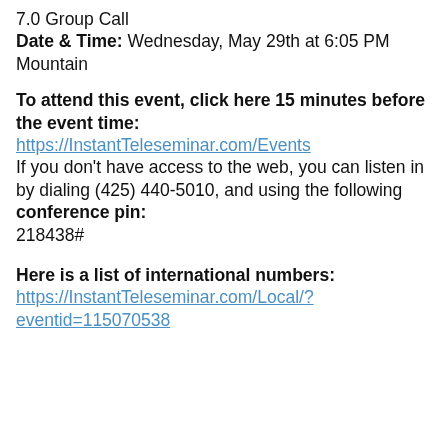7.0 Group Call
Date & Time: Wednesday, May 29th at 6:05 PM Mountain
To attend this event, click here 15 minutes before the event time:
https://InstantTeleseminar.com/Events
If you don't have access to the web, you can listen in by dialing (425) 440-5010, and using the following conference pin:
218438#
Here is a list of international numbers:
https://InstantTeleseminar.com/Local/?eventid=115070538